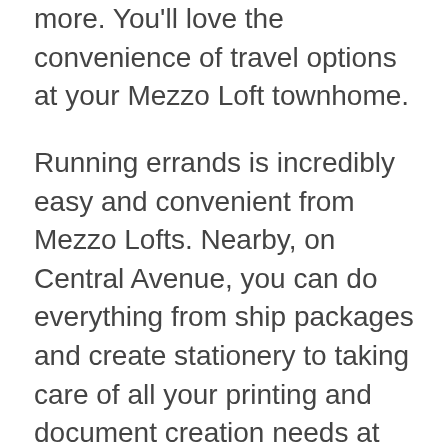more. You'll love the convenience of travel options at your Mezzo Loft townhome.
Running errands is incredibly easy and convenient from Mezzo Lofts. Nearby, on Central Avenue, you can do everything from ship packages and create stationery to taking care of all your printing and document creation needs at FedEx Office. A U.S. Bank and Chase Bank branches are nearby as well for all your financial transactions.
When it's time to start your day, take a short trip down to BoSa Donuts. From delicious donuts to tasty breakfast and lunch items, not to mention coffee, you can take care of you and your co-workers at this popular restaurant. For a great